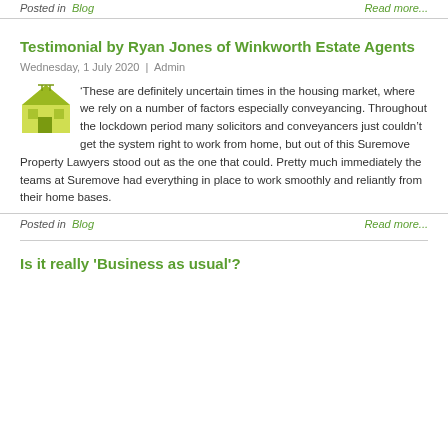Posted in  Blog  |  Read more...
Testimonial by Ryan Jones of Winkworth Estate Agents
Wednesday, 1 July 2020  |  Admin
‘These are definitely uncertain times in the housing market, where we rely on a number of factors especially conveyancing. Throughout the lockdown period many solicitors and conveyancers just couldn’t get the system right to work from home, but out of this Suremove Property Lawyers stood out as the one that could. Pretty much immediately the teams at Suremove had everything in place to work smoothly and reliantly from their home bases.
Posted in  Blog  |  Read more...
Is it really 'Business as usual'?